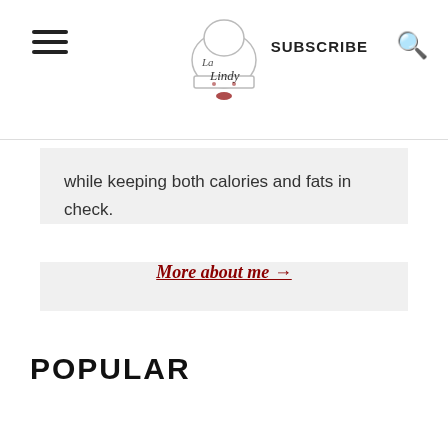La Lindy - SUBSCRIBE [search icon]
while keeping both calories and fats in check.
More about me →
POPULAR